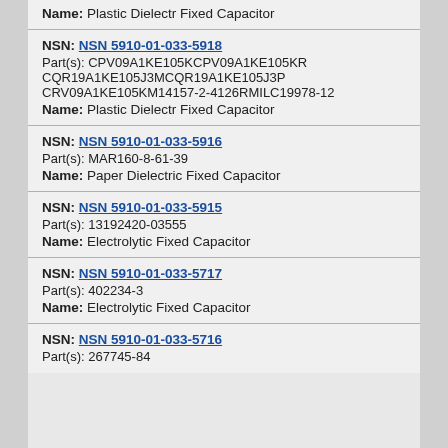Name: Plastic Dielectr Fixed Capacitor
NSN: NSN 5910-01-033-5918
Part(s): CPV09A1KE105KCPV09A1KE105KR CQR19A1KE105J3MCQR19A1KE105J3P CRV09A1KE105KM14157-2-4126RMILC19978-12
Name: Plastic Dielectr Fixed Capacitor
NSN: NSN 5910-01-033-5916
Part(s): MAR160-8-61-39
Name: Paper Dielectric Fixed Capacitor
NSN: NSN 5910-01-033-5915
Part(s): 13192420-03555
Name: Electrolytic Fixed Capacitor
NSN: NSN 5910-01-033-5717
Part(s): 402234-3
Name: Electrolytic Fixed Capacitor
NSN: NSN 5910-01-033-5716
Part(s): 267745-84